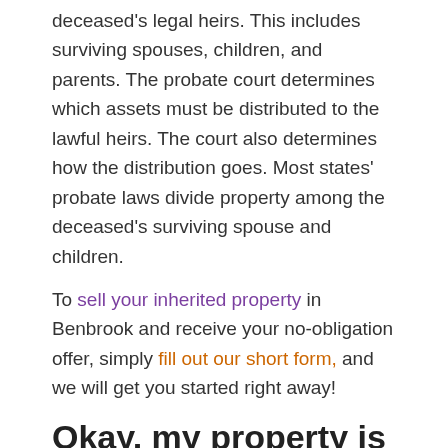deceased's legal heirs. This includes surviving spouses, children, and parents. The probate court determines which assets must be distributed to the lawful heirs. The court also determines how the distribution goes. Most states' probate laws divide property among the deceased's surviving spouse and children.
To sell your inherited property in Benbrook and receive your no-obligation offer, simply fill out our short form, and we will get you started right away!
Okay, my property is on the market; now what?
After advertising the property on the market for sale, the seller must wait for a potential buyer's offer. In this case, we would suggest you choose TMC Property Solutions to